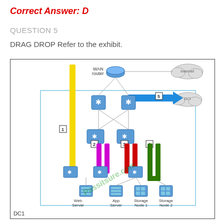Correct Answer: D
QUESTION 5
DRAG DROP Refer to the exhibit.
[Figure (network-graph): Network diagram showing a data center (DC1) with WAN router connected to Internet cloud, two core switches (snowflake icons), two distribution switches labeled 1 and 2, connected to Web Server, App Server, Storage Node 1, Storage Node 2. Labeled connections 1-5: 1=yellow vertical cable, 2=magenta/pink U-shape, 3=red U-shape, 4=green U-shape, 5=blue horizontal arrow. DCI cloud shown at right. Watermark: Passitdump.com]